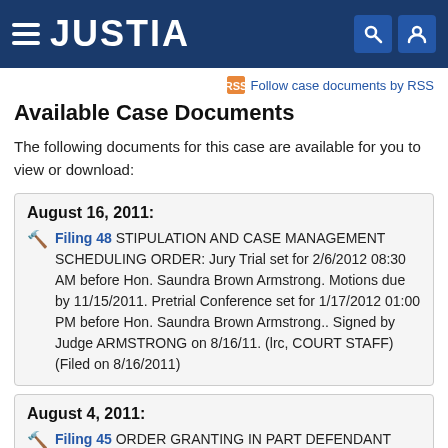JUSTIA
Follow case documents by RSS
Available Case Documents
The following documents for this case are available for you to view or download:
August 16, 2011:
Filing 48  STIPULATION AND CASE MANAGEMENT SCHEDULING ORDER: Jury Trial set for 2/6/2012 08:30 AM before Hon. Saundra Brown Armstrong. Motions due by 11/15/2011. Pretrial Conference set for 1/17/2012 01:00 PM before Hon. Saundra Brown Armstrong.. Signed by Judge ARMSTRONG on 8/16/11. (lrc, COURT STAFF) (Filed on 8/16/2011)
August 4, 2011:
Filing 45  ORDER GRANTING IN PART DEFENDANT